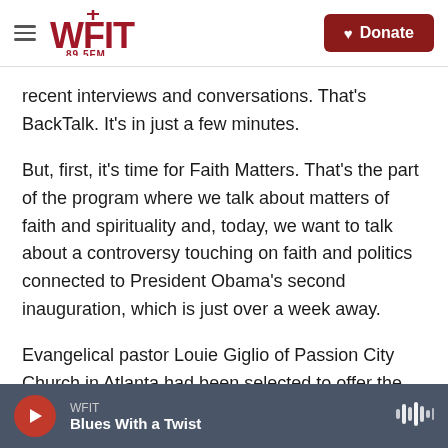WFIT 89.5FM | Donate
recent interviews and conversations. That's BackTalk. It's in just a few minutes.
But, first, it's time for Faith Matters. That's the part of the program where we talk about matters of faith and spirituality and, today, we want to talk about a controversy touching on faith and politics connected to President Obama's second inauguration, which is just over a week away.
Evangelical pastor Louie Giglio of Passion City Church in Atlanta had been selected to offer the benediction, but he has now withdrawn after gay
WFIT — Blues With a Twist